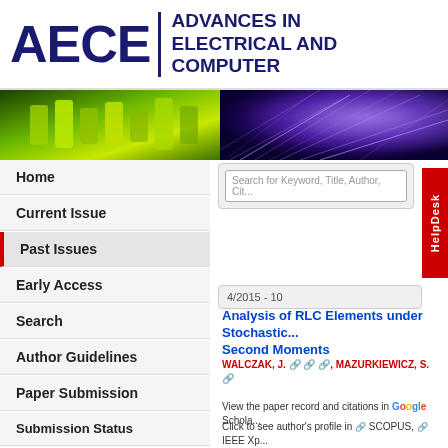[Figure (logo): AECE journal logo with text 'ADVANCES IN ELECTRICAL AND COMPUTER']
[Figure (photo): Banner strip showing green circuit board on left and blue fiber optics on right]
Home
Current Issue
Past Issues
Early Access
Search
Author Guidelines
Paper Submission
Submission Status
Reviewer Login
About
Citations
Search for Keyword, Title, Author, Cit...
HelpDesk
4/2015 - 10
Analysis of RLC Elements under Stochastic... Second Moments
WALCZAK, J. [icons], MAZURKIEWICZ, S. [icon]
View the paper record and citations in Google Scholar
Click to see author's profile in SCOPUS, IEEE Xp...